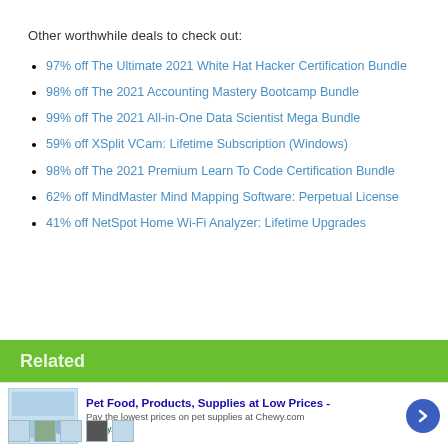Other worthwhile deals to check out:
97% off The Ultimate 2021 White Hat Hacker Certification Bundle
98% off The 2021 Accounting Mastery Bootcamp Bundle
99% off The 2021 All-in-One Data Scientist Mega Bundle
59% off XSplit VCam: Lifetime Subscription (Windows)
98% off The 2021 Premium Learn To Code Certification Bundle
62% off MindMaster Mind Mapping Software: Perpetual License
41% off NetSpot Home Wi-Fi Analyzer: Lifetime Upgrades
Related
Pet Food, Products, Supplies at Low Prices - Pay the lowest prices on pet supplies at Chewy.com chewy.com